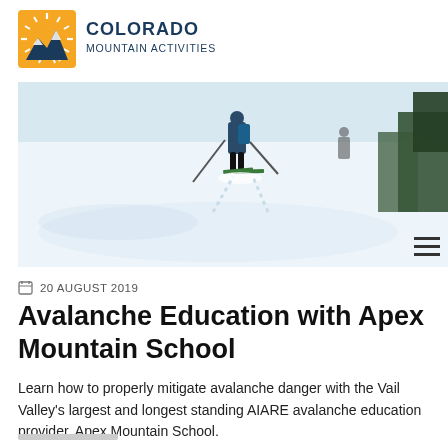[Figure (logo): Colorado Mountain Activities logo — orange/yellow sunburst square with mountain silhouette on left, dark blue text 'COLORADO MOUNTAIN ACTIVITIES' on right]
[Figure (photo): Skier in deep powder snow on a mountain slope, trees visible in background, wide panoramic hero photo]
20 AUGUST 2019
Avalanche Education with Apex Mountain School
Learn how to properly mitigate avalanche danger with the Vail Valley's largest and longest standing AIARE avalanche education provider, Apex Mountain School.